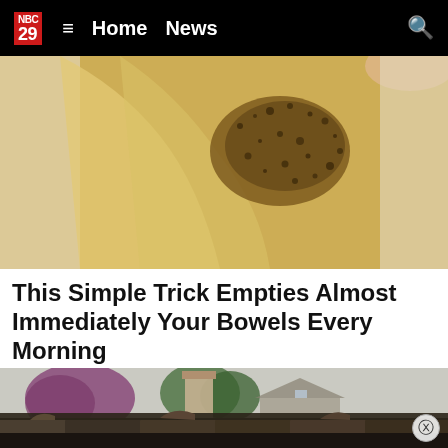NBC 29 ≡ Home News 🔍
[Figure (photo): Close-up macro photo of a yellowish translucent substance with dark brown speckled granules/seeds scattered across it, being peeled or lifted, with a textured white surface in the background.]
This Simple Trick Empties Almost Immediately Your Bowels Every Morning
Gundry MD | Total Restore | Sponsored
[Figure (photo): Exterior photo of a house with damaged/curling shingles on the roof in the foreground, a chimney, and trees including a blooming pink/purple tree in the background against an overcast sky.]